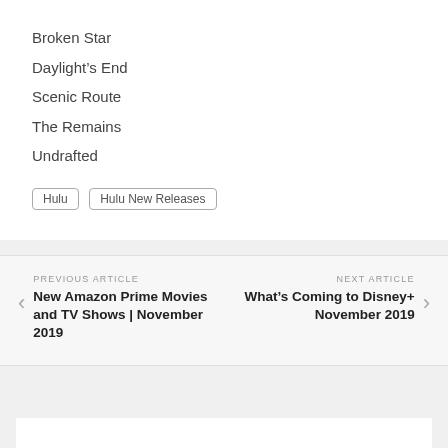Broken Star
Daylight’s End
Scenic Route
The Remains
Undrafted
Hulu | Hulu New Releases
PREVIOUS ARTICLE New Amazon Prime Movies and TV Shows | November 2019
NEXT ARTICLE What’s Coming to Disney+ November 2019